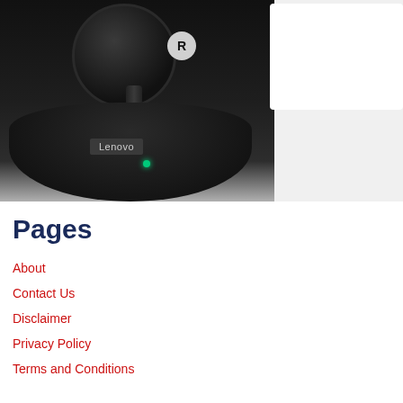[Figure (photo): Lenovo wireless earbuds (right earbud labeled 'R') in a black charging case with 'Lenovo' branding and a green LED indicator light. The case is shown open at an angle on a light surface. The right portion of the image shows a white overlay/card.]
Pages
About
Contact Us
Disclaimer
Privacy Policy
Terms and Conditions